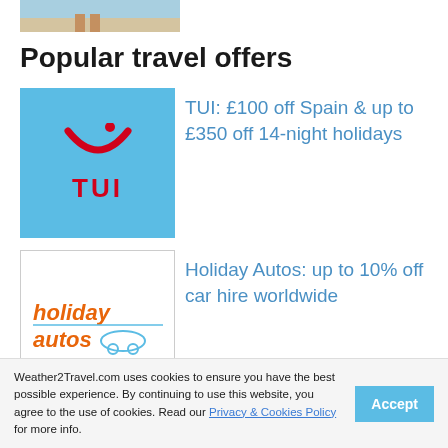[Figure (photo): Partial beach/holiday photo showing legs on sand]
Popular travel offers
[Figure (logo): TUI logo on blue background]
TUI: £100 off Spain & up to £350 off 14-night holidays
[Figure (logo): Holiday Autos logo on white background]
Holiday Autos: up to 10% off car hire worldwide
[Figure (logo): Marella Cruises logo on dark navy background]
Marella Cruises: £300 off sailings in 2023
Weather2Travel.com uses cookies to ensure you have the best possible experience. By continuing to use this website, you agree to the use of cookies. Read our Privacy & Cookies Policy for more info.